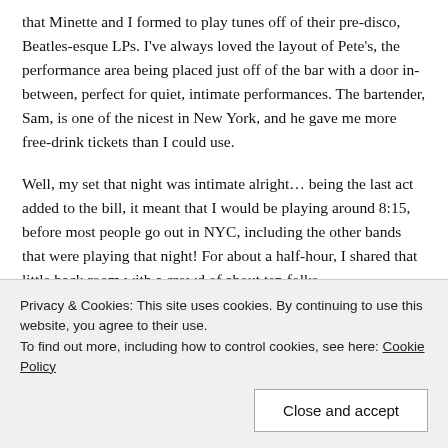that Minette and I formed to play tunes off of their pre-disco, Beatles-esque LPs. I've always loved the layout of Pete's, the performance area being placed just off of the bar with a door in-between, perfect for quiet, intimate performances. The bartender, Sam, is one of the nicest in New York, and he gave me more free-drink tickets than I could use.
Well, my set that night was intimate alright… being the last act added to the bill, it meant that I would be playing around 8:15, before most people go out in NYC, including the other bands that were playing that night! For about a half-hour, I shared that little back room with a crowd of about ten folks,
Privacy & Cookies: This site uses cookies. By continuing to use this website, you agree to their use.
To find out more, including how to control cookies, see here: Cookie Policy
Close and accept